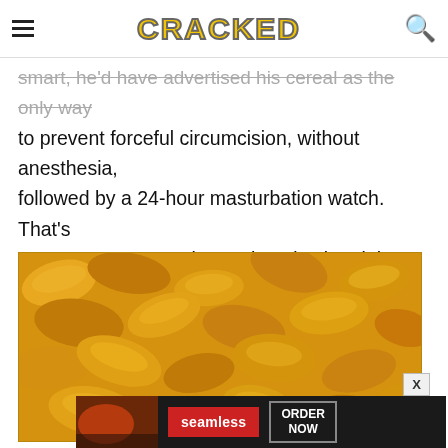CRACKED
smart, he'd have advertised his cereal as the only way to prevent forceful circumcision, without anesthesia, followed by a 24-hour masturbation watch. That's some pretty strong damned motivation right there.
[Figure (photo): Close-up photo of corn flakes cereal piled together, golden/orange-yellow color]
[Figure (screenshot): Seamless food delivery advertisement banner with pizza image, red Seamless logo, and ORDER NOW button]